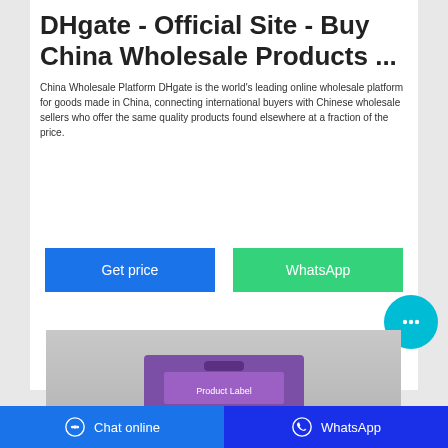DHgate - Official Site - Buy China Wholesale Products ...
China Wholesale Platform DHgate is the world's leading online wholesale platform for goods made in China, connecting international buyers with Chinese wholesale sellers who offer the same quality products found elsewhere at a fraction of the price.
[Figure (screenshot): Two buttons: blue 'Get price' button and green 'WhatsApp' button]
[Figure (photo): Product image showing a purple box/packaging with handle cutout on grey background]
Chat online   WhatsApp